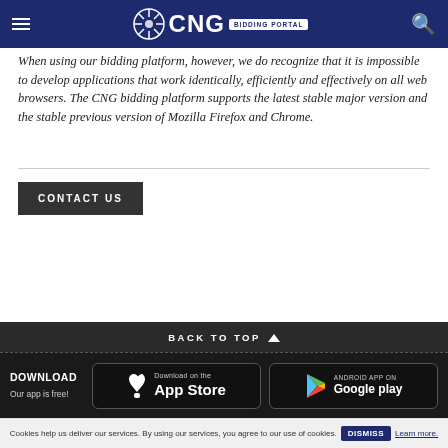CNG BIDDING PORTAL
When using our bidding platform, however, we do recognize that it is impossible to develop applications that work identically, efficiently and effectively on all web browsers. The CNG bidding platform supports the latest stable major version and the stable previous version of Mozilla Firefox and Chrome.
CONTACT US
BACK TO TOP
DOWNLOAD Our app is free! Download on the App Store Android App on Google play
Cookies help us deliver our services. By using our services, you agree to our use of cookies. DISMISS Learn more.